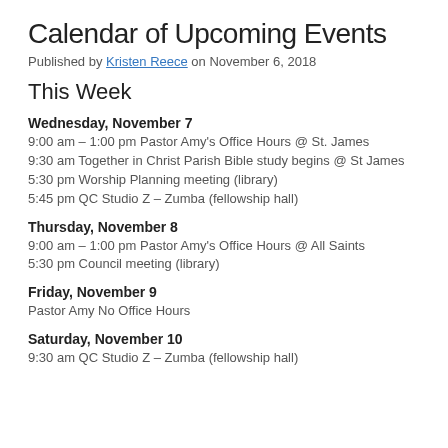Calendar of Upcoming Events
Published by Kristen Reece on November 6, 2018
This Week
Wednesday, November 7
9:00 am – 1:00 pm Pastor Amy's Office Hours @ St. James
9:30 am Together in Christ Parish Bible study begins @ St James
5:30 pm Worship Planning meeting (library)
5:45 pm QC Studio Z – Zumba (fellowship hall)
Thursday, November 8
9:00 am – 1:00 pm Pastor Amy's Office Hours @ All Saints
5:30 pm Council meeting (library)
Friday, November 9
Pastor Amy No Office Hours
Saturday, November 10
9:30 am QC Studio Z – Zumba (fellowship hall)